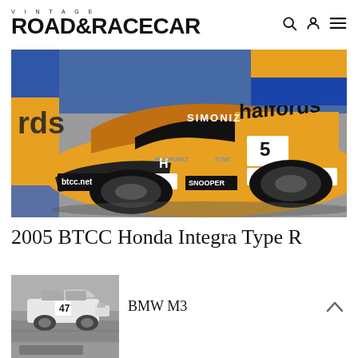VINTAGE ROAD & RACECAR
[Figure (photo): Yellow Honda Integra Type R BTCC race car with Halfords, Castrol, Simoniz, evo sponsorship livery, number 5, on track]
2005 BTCC Honda Integra Type R
[Figure (photo): Black and white photo of a BMW M3 race car on track]
BMW M3